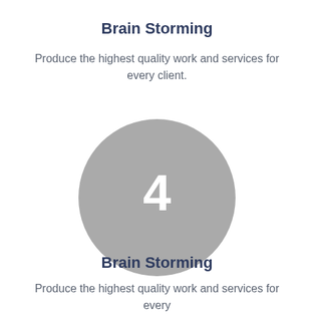Brain Storming
Produce the highest quality work and services for every client.
[Figure (illustration): A large gray circle with the number 4 displayed in white at its center.]
Brain Storming
Produce the highest quality work and services for every